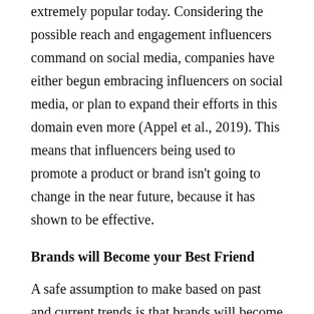extremely popular today. Considering the possible reach and engagement influencers command on social media, companies have either begun embracing influencers on social media, or plan to expand their efforts in this domain even more (Appel et al., 2019). This means that influencers being used to promote a product or brand isn't going to change in the near future, because it has shown to be effective.
Brands will Become your Best Friend
A safe assumption to make based on past and current trends is that brands will become even better equipped to answer consumer's questions and meet consumer's needs. For example, new platforms have emerged to make the connection